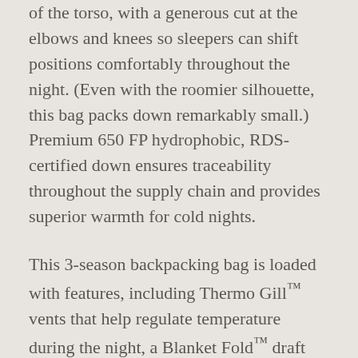of the torso, with a generous cut at the elbows and knees so sleepers can shift positions comfortably throughout the night. (Even with the roomier silhouette, this bag packs down remarkably small.) Premium 650 FP hydrophobic, RDS-certified down ensures traceability throughout the supply chain and provides superior warmth for cold nights.
This 3-season backpacking bag is loaded with features, including Thermo Gill™ vents that help regulate temperature during the night, a Blanket Fold™ draft collar that provides tucked-in comfort, and a waterproof/breathable footbox to withstand tent condensation. Left-sided zippers on the